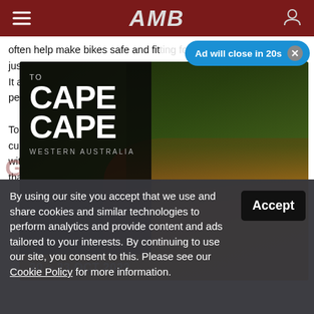AMB
often help make bikes safe and fit... just... up. It a... er peo...
[Figure (other): Ad close pill: 'Ad will close in 20s' with close button in blue pill shape]
[Figure (photo): Cape to Cape Western Australia 20-23 Oct 2022 mountain biking event advertisement. Two mountain bikers riding on a red dirt trail through a forest. Left panel: Cape to Cape logo in white on dark background, WESTERN AUSTRALIA text, date bar '20 - 23 OCT 2022' in gold/brown.]
To... cur... wit... tha... ano... and GOOD TIMES ROLLING
By using our site you accept that we use and share cookies and similar technologies to perform analytics and provide content and ads tailored to your interests. By continuing to use our site, you consent to this. Please see our Cookie Policy for more information.